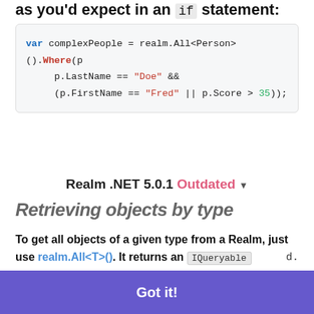as you'd expect in an if statement:
[Figure (screenshot): Code block showing: var complexPeople = realm.All<Person>().Where(p p.LastName == "Doe" && (p.FirstName == "Fred" || p.Score > 35));]
Realm .NET 5.0.1  Outdated
Retrieving objects by type
To get all objects of a given type from a Realm, just use realm.All<T>(). It returns an IQueryable
This website uses cookies to ensure you get the best experience on our website.
Learn more
Got it!